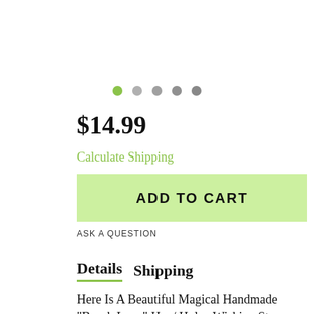[Figure (other): Image carousel navigation dots: one green dot followed by four gray dots]
$14.99
Calculate Shipping
ADD TO CART
ASK A QUESTION
Details   Shipping
Here Is A Beautiful Magical Handmade "Beach Love" Hag/ Holey Wishing Stone